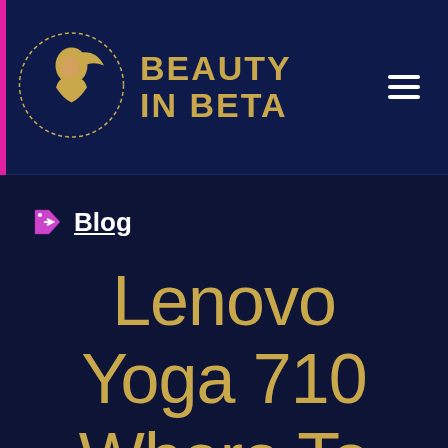BEAUTY IN BETA
Blog
Lenovo Yoga 710 Where To